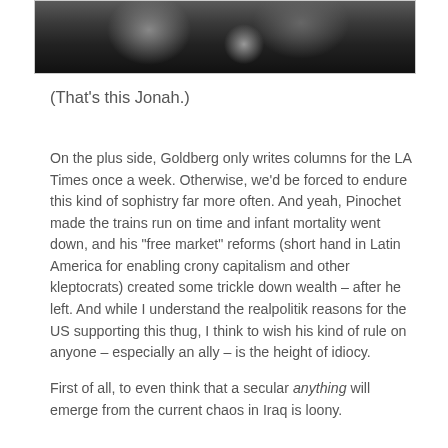[Figure (photo): Partial photo showing a person in a vehicle, cropped at the top]
(That's this Jonah.)
On the plus side, Goldberg only writes columns for the LA Times once a week. Otherwise, we'd be forced to endure this kind of sophistry far more often. And yeah, Pinochet made the trains run on time and infant mortality went down, and his “free market” reforms (short hand in Latin America for enabling crony capitalism and other kleptocrats) created some trickle down wealth – after he left. And while I understand the realpolitik reasons for the US supporting this thug, I think to wish his kind of rule on anyone – especially an ally – is the height of idiocy.
First of all, to even think that a secular anything will emerge from the current chaos in Iraq is loony.